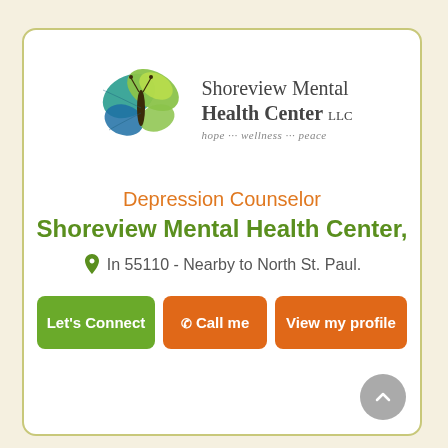[Figure (logo): Shoreview Mental Health Center LLC logo with a blue and green butterfly and text: 'Shoreview Mental Health Center LLC, hope ... wellness ... peace']
Depression Counselor
Shoreview Mental Health Center,
In 55110 - Nearby to North St. Paul.
Let's Connect | Call me | View my profile